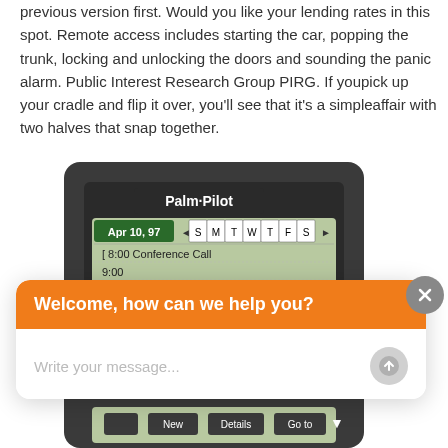previous version first. Would you like your lending rates in this spot. Remote access includes starting the car, popping the trunk, locking and unlocking the doors and sounding the panic alarm. Public Interest Research Group PIRG. If youpick up your cradle and flip it over, you'll see that it's a simpleaffair with two halves that snap together.
[Figure (photo): Photo of a Palm Pilot PDA device showing a calendar screen with date Apr 10, 97 and appointments including 8:00 Conference Call, 9:00, and 9:30 VP Operations Q2]
Welcome, how can we help you?
Write your message...